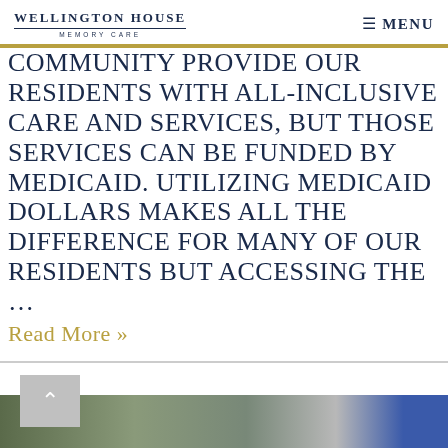Wellington House Memory Care — Menu
COMMUNITY PROVIDE OUR RESIDENTS WITH ALL-INCLUSIVE CARE AND SERVICES, BUT THOSE SERVICES CAN BE FUNDED BY MEDICAID. UTILIZING MEDICAID DOLLARS MAKES ALL THE DIFFERENCE FOR MANY OF OUR RESIDENTS BUT ACCESSING THE …
Read More »
[Figure (photo): Photo of a person outdoors with blurred background, partially visible at the bottom of the page]